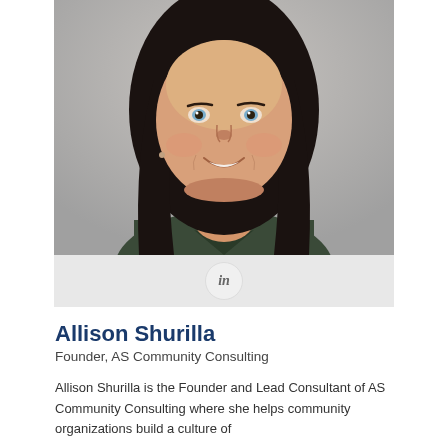[Figure (photo): Professional headshot of Allison Shurilla, a woman with long dark hair, smiling, wearing a dark green top, against a light gray background]
[Figure (logo): LinkedIn 'in' icon button in a circular light gray background]
Allison Shurilla
Founder, AS Community Consulting
Allison Shurilla is the Founder and Lead Consultant of AS Community Consulting where she helps community organizations build a culture of